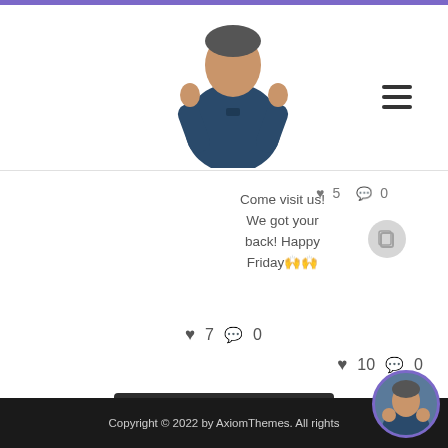[Figure (photo): Person in dark blue medical scrubs giving thumbs up, used as logo/header image]
Come visit us! We got your back! Happy Friday🙌🙌
♥ 5  💬 0
♥ 7  💬 0
♥ 10  💬 0
Load More...
Follow on Instagram
Copyright © 2022 by AxiomThemes. All rights
[Figure (photo): Small circular avatar of person in scrubs with purple border, floating at bottom right]